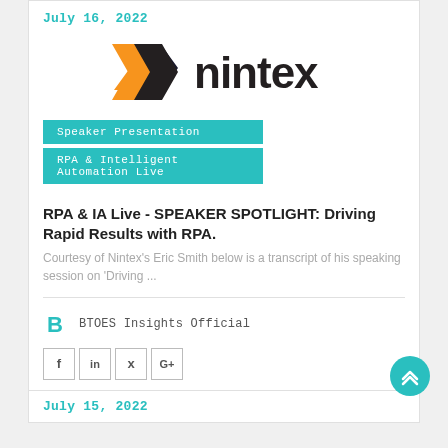July 16, 2022
[Figure (logo): Nintex company logo with orange and dark X symbol and 'nintex' wordmark in black]
Speaker Presentation
RPA & Intelligent Automation Live
RPA & IA Live - SPEAKER SPOTLIGHT: Driving Rapid Results with RPA.
Courtesy of Nintex's Eric Smith below is a transcript of his speaking session on 'Driving ...
BTOES Insights Official
July 15, 2022